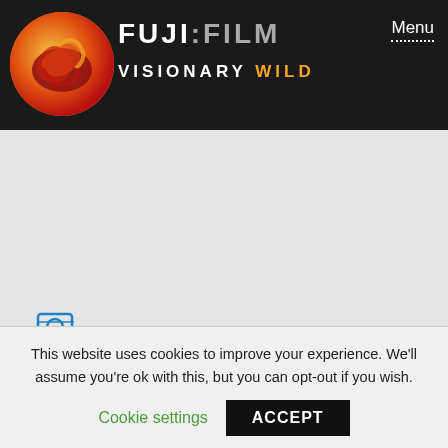FUJIFILM VISIONARY WILD Menu
[Figure (logo): Fujifilm Visionary Wild circular logo with stylized orange/red wave design on dark background, alongside FUJIFILM and VISIONARY WILD text in header]
[Figure (logo): Lensrentals.com logo - LR icon in blue with text lensrentals.com]
[Figure (logo): Marmot logo in red bold italic text]
This website uses cookies to improve your experience. We'll assume you're ok with this, but you can opt-out if you wish.
Cookie settings   ACCEPT